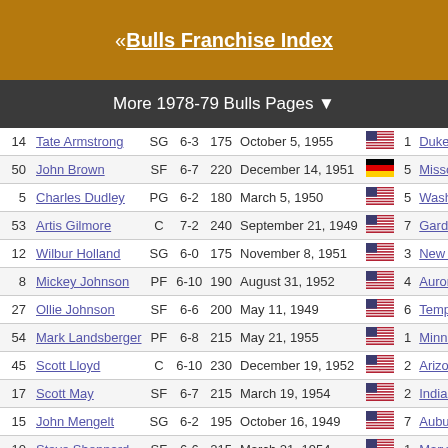« Bulls Franchise Index
More 1978-79 Bulls Pages ▼
| # | Name | Pos | Ht | Wt | Birth Date | Flag | Exp | College |
| --- | --- | --- | --- | --- | --- | --- | --- | --- |
| 14 | Tate Armstrong | SG | 6-3 | 175 | October 5, 1955 | US | 1 | Duke |
| 50 | John Brown | SF | 6-7 | 220 | December 14, 1951 | DE | 5 | Missouri |
| 5 | Charles Dudley | PG | 6-2 | 180 | March 5, 1950 | US | 5 | Washington |
| 53 | Artis Gilmore | C | 7-2 | 240 | September 21, 1949 | US | 7 | Gardner-Web |
| 12 | Wilbur Holland | SG | 6-0 | 175 | November 8, 1951 | US | 3 | New Orleans |
| 8 | Mickey Johnson | PF | 6-10 | 190 | August 31, 1952 | US | 4 | Aurora Univer |
| 27 | Ollie Johnson | SF | 6-6 | 200 | May 11, 1949 | US | 6 | Temple |
| 54 | Mark Landsberger | PF | 6-8 | 215 | May 21, 1955 | US | 1 | Minnesota, A |
| 45 | Scott Lloyd | C | 6-10 | 230 | December 19, 1952 | US | 2 | Arizona State |
| 17 | Scott May | SF | 6-7 | 215 | March 19, 1954 | US | 2 | Indiana |
| 15 | John Mengelt | SG | 6-2 | 195 | October 16, 1949 | US | 7 | Auburn |
| 10 | Steve Sheppard | SF | 6-6 | 215 | March 21, 1954 | US | 1 | Maryland |
| 24 | Reggie Theus | PG | 6-7 | 190 | October 13, 1957 | US | R | UNLV |
| 44 | Andre Wakefield | SG | 6-3 | 175 | January 11, 1955 | US | R | Loyola Chicag |